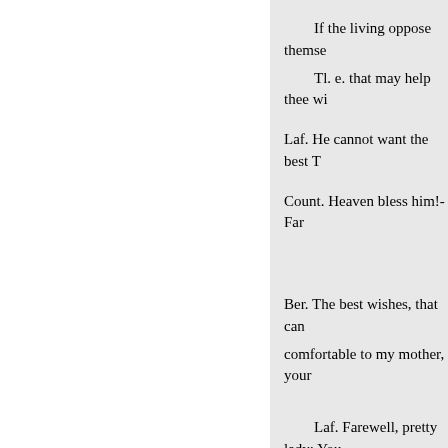If the living oppose themselves to
Tl. e. that may help thee wi
Laf. He cannot want the best T
Count. Heaven bless him!-Far
Ber. The best wishes, that can comfortable to my mother, your
Laf. Farewell, pretty lady: You O, were that all!-I think not on m shed for him. What was he like? am undone; there is no living, no particular star, And think to wed comforted, not in his sphere. The the lion, Must die for love. "Twa brows, his hawking eye, his curls sweet favour:§ But now he's gon
Enter PAROLLES.
One that goes with him; I ca